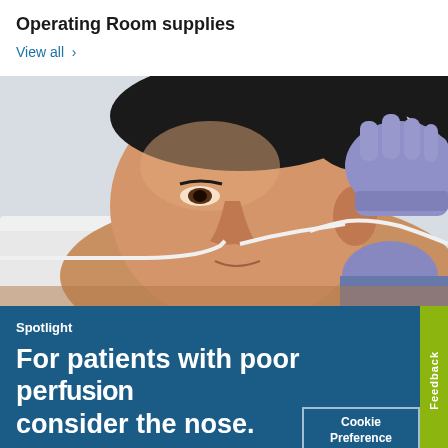Operating Room supplies
View all ›
[Figure (photo): A patient lying down with a nasal cannula oxygen tube, while a medical professional wearing purple latex gloves adjusts the tubing near the patient's ear. The patient appears to be an Asian male.]
Spotlight
For patients with poor perfusion consider the nose.
Cookie Preference
Feedback